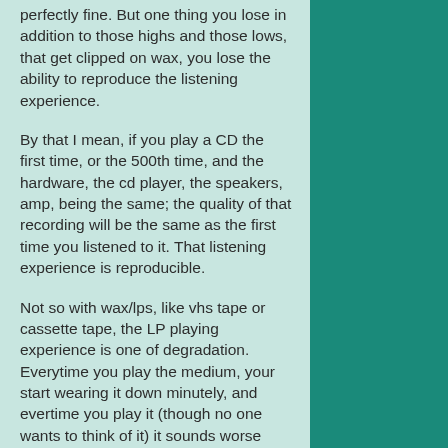perfectly fine. But one thing you lose in addition to those highs and those lows, that get clipped on wax, you lose the ability to reproduce the listening experience.
By that I mean, if you play a CD the first time, or the 500th time, and the hardware, the cd player, the speakers, amp, being the same; the quality of that recording will be the same as the first time you listened to it. That listening experience is reproducible.
Not so with wax/lps, like vhs tape or cassette tape, the LP playing experience is one of degradation. Everytime you play the medium, your start wearing it down minutely, and evertime you play it (though no one wants to think of it) it sounds worse than the previous time, because you are scraping into that signal, that medium.
I come from the analog generation, I